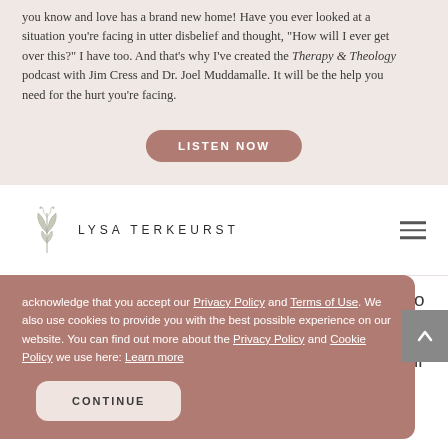you know and love has a brand new home! Have you ever looked at a situation you're facing in utter disbelief and thought, "How will I ever get over this?" I have too. And that's why I've created the Therapy & Theology podcast with Jim Cress and Dr. Joel Muddamalle. It will be the help you need for the hurt you're facing.
LISTEN NOW
[Figure (logo): Lysa TerKeurst logo with decorative leaf/botanical illustration and name in uppercase letters]
acknowledge that you accept our Privacy Policy and Terms of Use. We also use cookies to provide you with the best possible experience on our website. You can find out more about the Privacy Policy and Cookie Policy we use here: Learn more
CONTINUE